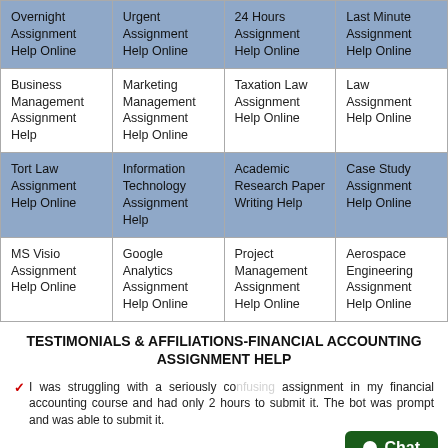| Overnight Assignment Help Online | Urgent Assignment Help Online | 24 Hours Assignment Help Online | Last Minute Assignment Help Online |
| Business Management Assignment Help | Marketing Management Assignment Help Online | Taxation Law Assignment Help Online | Law Assignment Help Online |
| Tort Law Assignment Help Online | Information Technology Assignment Help | Academic Research Paper Writing Help | Case Study Assignment Help Online |
| MS Visio Assignment Help Online | Google Analytics Assignment Help Online | Project Management Assignment Help Online | Aerospace Engineering Assignment Help Online |
TESTIMONIALS & AFFILIATIONS-FINANCIAL ACCOUNTING ASSIGNMENT HELP
I was struggling with a seriously confusing assignment in my financial accounting course and had only 2 hours to submit it. The bot was prompt and was able to submit it...